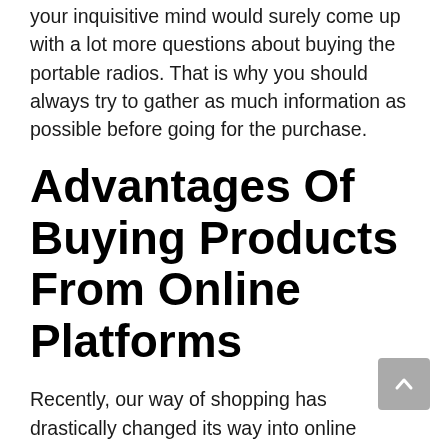your inquisitive mind would surely come up with a lot more questions about buying the portable radios. That is why you should always try to gather as much information as possible before going for the purchase.
Advantages Of Buying Products From Online Platforms
Recently, our way of shopping has drastically changed its way into online shopping. Because of its benefits and